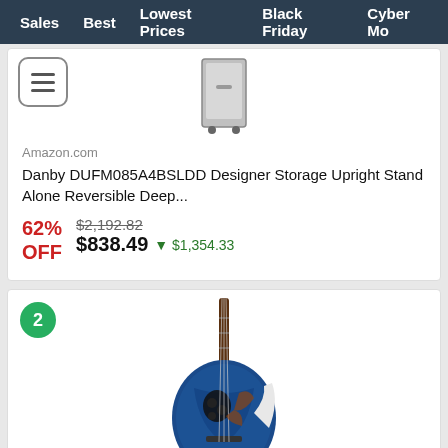Sales   Best   Lowest Prices   Black Friday   Cyber Mo
[Figure (screenshot): Partial product card for Danby DUFM085A4BSLDD freezer with hamburger menu icon and product image]
Amazon.com
Danby DUFM085A4BSLDD Designer Storage Upright Stand Alone Reversible Deep...
62% OFF  $2,192.82  $838.49  ▼ $1,354.33
[Figure (photo): Blue quilted acoustic-electric guitar (Ovation style) with cutaway body]
Amazon.com